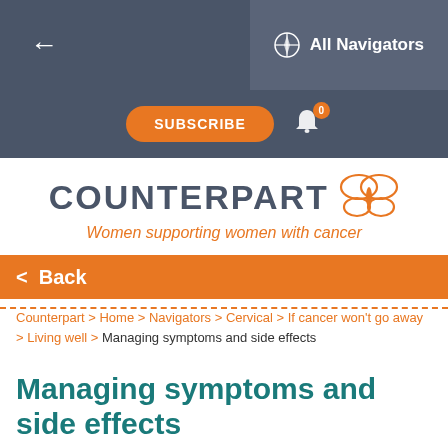← All Navigators | SUBSCRIBE | 0
[Figure (logo): Counterpart logo with butterfly icon and tagline 'Women supporting women with cancer']
< Back
Counterpart > Home > Navigators > Cervical > If cancer won't go away > Living well > Managing symptoms and side effects
Managing symptoms and side effects